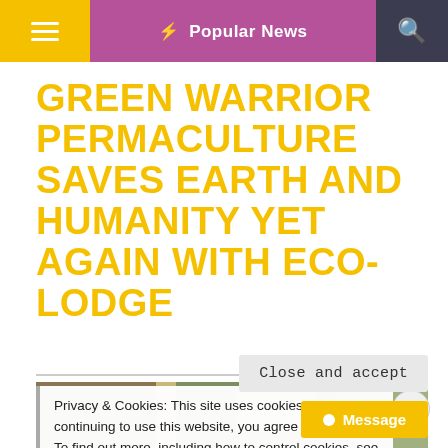≡  ⚡ Popular News  🔍
GREEN WARRIOR PERMACULTURE SAVES EARTH AND HUMANITY YET AGAIN WITH ECO-LODGE
[Figure (photo): Outdoor nature/eco-lodge scene with wood and foliage visible]
Privacy & Cookies: This site uses cookies. By continuing to use this website, you agree to their use.
To find out more, including how to control cookies, see here:
Cookie Policy
Close and accept
● Message